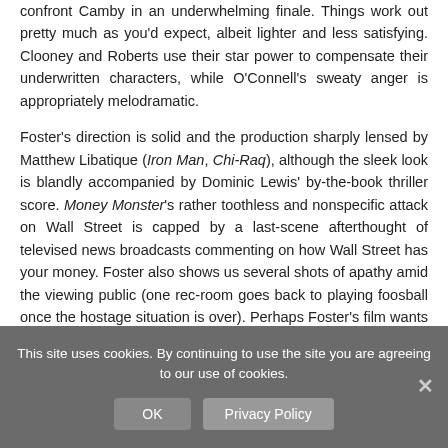confront Camby in an underwhelming finale. Things work out pretty much as you'd expect, albeit lighter and less satisfying. Clooney and Roberts use their star power to compensate their underwritten characters, while O'Connell's sweaty anger is appropriately melodramatic.
Foster's direction is solid and the production sharply lensed by Matthew Libatique (Iron Man, Chi-Raq), although the sleek look is blandly accompanied by Dominic Lewis' by-the-book thriller score. Money Monster's rather toothless and nonspecific attack on Wall Street is capped by a last-scene afterthought of televised news broadcasts commenting on how Wall Street has your money. Foster also shows us several shots of apathy amid the viewing public (one rec-room goes back to playing foosball once the hostage situation is over). Perhaps Foster's film wants only for you to
This site uses cookies. By continuing to use the site you are agreeing to our use of cookies.